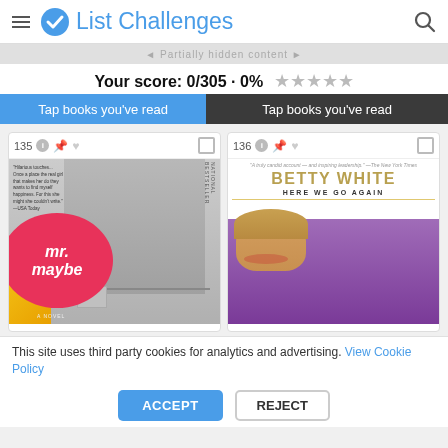List Challenges
Your score: 0/305 · 0% ★★★★★
Tap books you've read
[Figure (screenshot): Book card 135: mr. maybe novel cover with pink circle, yellow jacket, and gray background]
[Figure (screenshot): Book card 136: Betty White Here We Go Again book cover with author in purple jacket]
This site uses third party cookies for analytics and advertising. View Cookie Policy
ACCEPT
REJECT